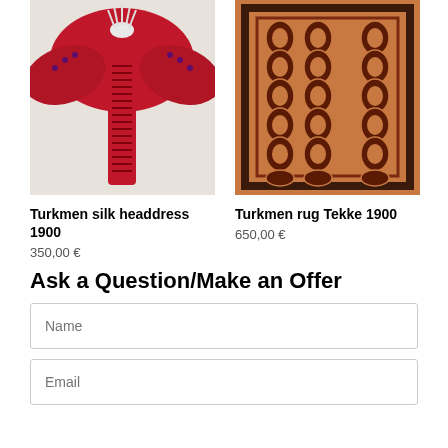[Figure (photo): Turkmen silk headdress 1900 - red silk decorative headdress hanging]
[Figure (photo): Turkmen rug Tekke 1900 - orange/red patterned rug with geometric designs]
Turkmen silk headdress 1900
350,00 €
Turkmen rug Tekke 1900
650,00 €
Ask a Question/Make an Offer
Name
Email